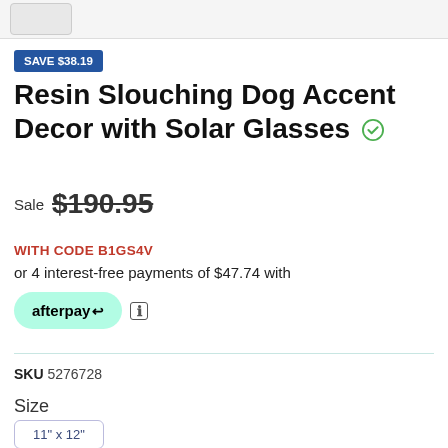[Figure (other): Thumbnail image strip at top of product page]
SAVE $38.19
Resin Slouching Dog Accent Decor with Solar Glasses
Sale $190.95
WITH CODE B1GS4V
or 4 interest-free payments of $47.74 with
[Figure (logo): Afterpay logo button (teal rounded pill)]
SKU 5276728
Size
11" x 12"